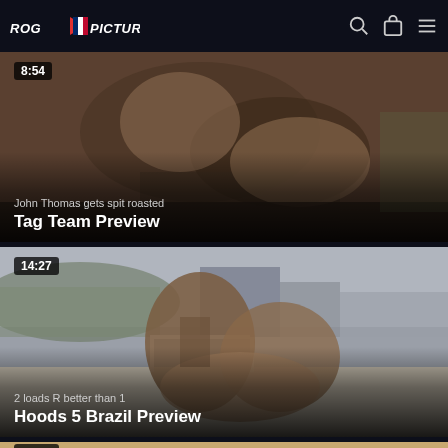ROGANDPICTURES (logo with flag)
[Figure (screenshot): Video thumbnail showing adult content, duration badge 8:54, subtitle 'John Thomas gets spit roasted', title 'Tag Team Preview']
[Figure (screenshot): Video thumbnail showing adult content outdoors rooftop setting, duration badge 14:27, subtitle '2 loads R better than 1', title 'Hoods 5 Brazil Preview']
[Figure (screenshot): Partial video thumbnail at bottom, duration badge 14:01 visible]